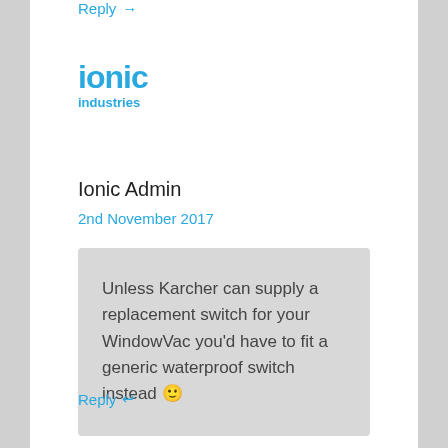Reply →
[Figure (logo): Ionic Industries logo — 'ionic' in large bold blue text with 'industries' in smaller bold blue text below]
Ionic Admin
2nd November 2017
Unless Karcher can supply a replacement switch for your WindowVac you'd have to fit a generic waterproof switch instead 🙂
Reply ↩